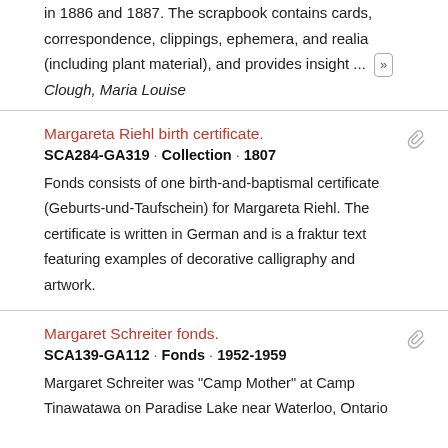in 1886 and 1887. The scrapbook contains cards, correspondence, clippings, ephemera, and realia (including plant material), and provides insight ...
Clough, Maria Louise
Margareta Riehl birth certificate.
SCA284-GA319 · Collection · 1807
Fonds consists of one birth-and-baptismal certificate (Geburts-und-Taufschein) for Margareta Riehl. The certificate is written in German and is a fraktur text featuring examples of decorative calligraphy and artwork.
Margaret Schreiter fonds.
SCA139-GA112 · Fonds · 1952-1959
Margaret Schreiter was "Camp Mother" at Camp Tinawatawa on Paradise Lake near Waterloo, Ontario